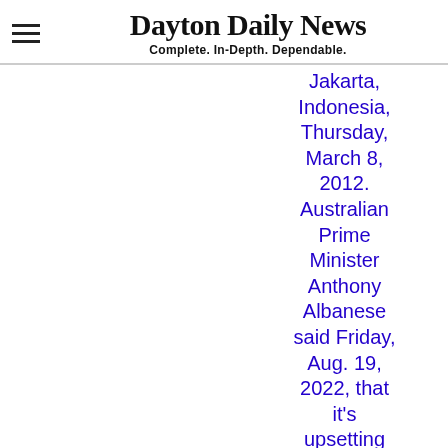Dayton Daily News — Complete. In-Depth. Dependable.
Jakarta, Indonesia, Thursday, March 8, 2012. Australian Prime Minister Anthony Albanese said Friday, Aug. 19, 2022, that it's upsetting Indonesia has further reduced the prison sentence of the bombmaker